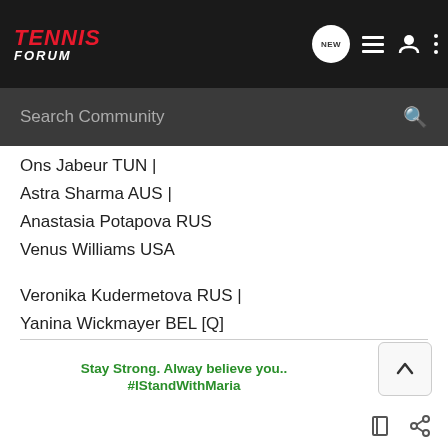Tennis Forum — navigation bar with logo, NEW bubble, list icon, user icon, more icon
Search Community
Ons Jabeur TUN |
Astra Sharma AUS |
Anastasia Potapova RUS
Venus Williams USA
Veronika Kudermetova RUS |
Yanina Wickmayer BEL [Q]
Kurumi Nara JPN [Q] |
Nao Hibino JPN [Q] |
Stay Strong. Alway believe you..
#IStandWithMaria